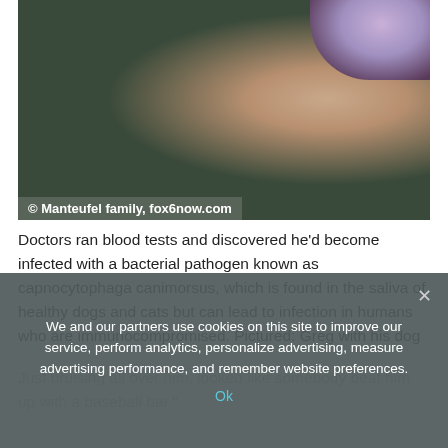[Figure (photo): Close-up photo of a person with their dog. Dark olive/green tones with blurred flesh-toned foreground. Photo credit overlay at bottom left.]
© Manteufel family, fox6now.com
Doctors ran blood tests and discovered he'd become infected with a bacterial pathogen known as capnocytophaga canimorsus, which is found in the saliva of healthy dogs and cats but can lead to infection in humans who are immunocompromised. Pictured: Greg with his dog
We and our partners use cookies on this site to improve our service, perform analytics, personalize advertising, measure advertising performance, and remember website preferences.
Ok